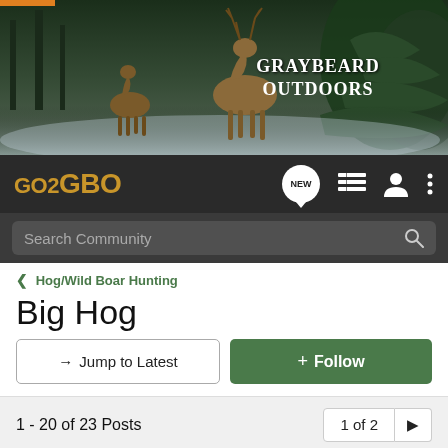[Figure (photo): Graybeard Outdoors website banner showing deer/elk in a wintry forest scene with pine branches and the Graybeard Outdoors logo in white text]
GO2GBO navigation bar with NEW chat icon, list icon, user icon, and menu icon
Search Community
< Hog/Wild Boar Hunting
Big Hog
→ Jump to Latest
+ Follow
1 - 20 of 23 Posts
1 of 2 ▶
bullet maker · Registered